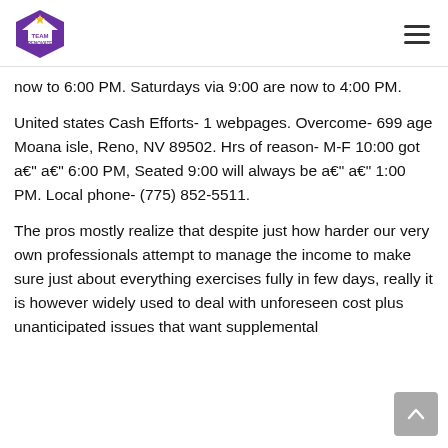Team Renovate logo and navigation menu
now to 6:00 PM. Saturdays via 9:00 are now to 4:00 PM.
United states Cash Efforts- 1 webpages. Overcome- 699 age Moana isle, Reno, NV 89502. Hrs of reason- M-F 10:00 got a€" a€" 6:00 PM, Seated 9:00 will always be a€" a€" 1:00 PM. Local phone- (775) 852-5511.
The pros mostly realize that despite just how harder our very own professionals attempt to manage the income to make sure just about everything exercises fully in few days, really it is however widely used to deal with unforeseen cost plus unanticipated issues that want supplemental